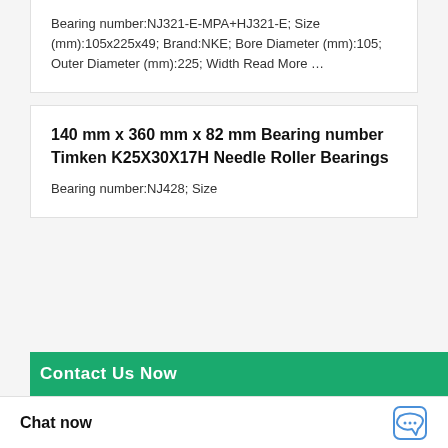Bearing number:NJ321-E-MPA+HJ321-E; Size (mm):105x225x49; Brand:NKE; Bore Diameter (mm):105; Outer Diameter (mm):225; Width Read More …
140 mm x 360 mm x 82 mm Bearing number Timken K25X30X17H Needle Roller Bearings
Bearing number:NJ428; Size
Chat now